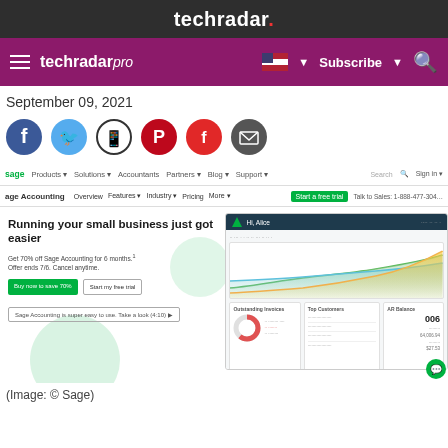techradar.
techradar pro  Subscribe
September 09, 2021
[Figure (other): Social sharing icons: Facebook, Twitter, WhatsApp, Pinterest, Flipboard, Email]
[Figure (screenshot): Screenshot of the Sage Accounting website homepage showing the navigation bar, hero section with text 'Running your small business just got easier', promotional offer 'Get 70% off Sage Accounting for 6 months', buttons 'Buy now to save 70%' and 'Start my free trial', and a dashboard preview image showing a line chart and data tables.]
(Image: © Sage)